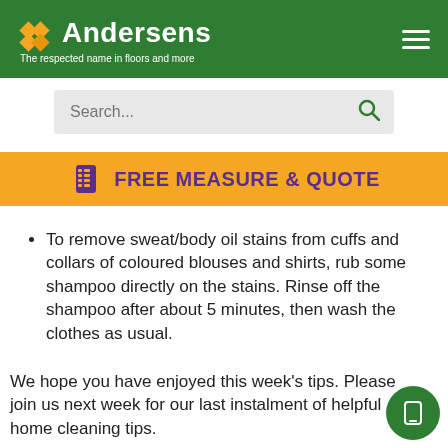Andersens — The respected name in floors and more
[Figure (logo): Andersens logo with orange diamond tile icon and white wordmark on green background. Tagline: 'The respected name in floors and more']
[Figure (infographic): Search bar with placeholder text 'Search...' and green search icon]
[Figure (infographic): Orange banner with purple text 'FREE MEASURE & QUOTE' and a purple comb/measuring icon]
To remove sweat/body oil stains from cuffs and collars of coloured blouses and shirts, rub some shampoo directly on the stains. Rinse off the shampoo after about 5 minutes, then wash the clothes as usual.
We hope you have enjoyed this week's tips. Please join us next week for our last instalment of helpful home cleaning tips.